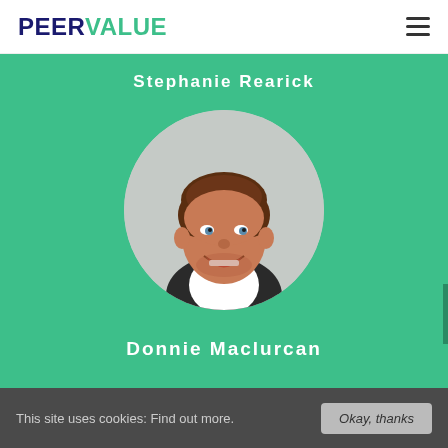PEERVALUE
Stephanie Rearick
[Figure (photo): Circular profile photo of a smiling man with brown hair, wearing a suit, on a light grey background]
Donnie Maclurcan
This site uses cookies: Find out more. Okay, thanks